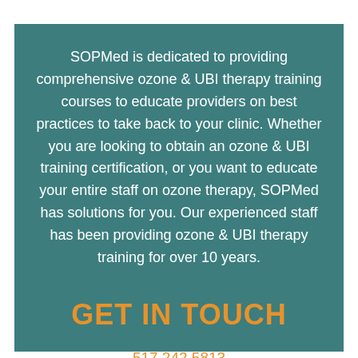SOPMed is dedicated to providing comprehensive ozone & UBI therapy training courses to educate providers on best practices to take back to your clinic. Whether you are looking to obtain an ozone & UBI training certification, or you want to educate your entire staff on ozone therapy, SOPMed has solutions for you. Our experienced staff has been providing ozone & UBI therapy training for over 10 years.
GET IN TOUCH
517.242.5813
info@sopmed.org